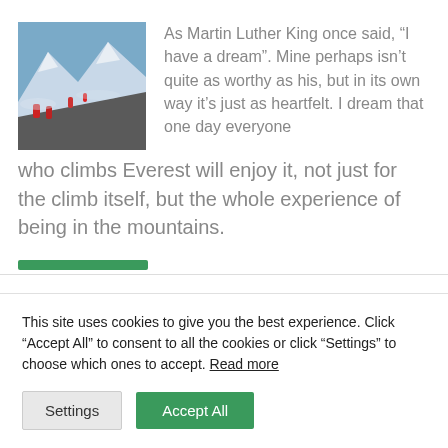[Figure (photo): Mountaineers in red jackets climbing a snowy mountain ridge, with mountain peaks and blue sky in background.]
As Martin Luther King once said, “I have a dream”. Mine perhaps isn’t quite as worthy as his, but in its own way it’s just as heartfelt. I dream that one day everyone who climbs Everest will enjoy it, not just for the climb itself, but the whole experience of being in the mountains.
This site uses cookies to give you the best experience. Click “Accept All” to consent to all the cookies or click “Settings” to choose which ones to accept. Read more